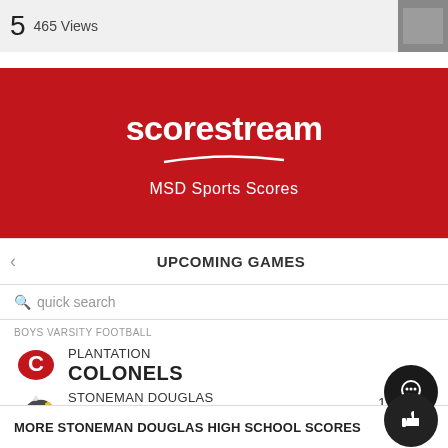5  465 Views
[Figure (screenshot): Scorestream MSD Sports Scores banner with red background, scorestream logo and MSD Sports Scores subtitle]
UPCOMING GAMES
quick search
BOYS VARSITY FOOTBALL
PLANTATION COLONELS vs STONEMAN DOUGLAS EAGLES - THU 11:00PM
MORE STONEMAN DOUGLAS HIGH SCHOOL SCORES